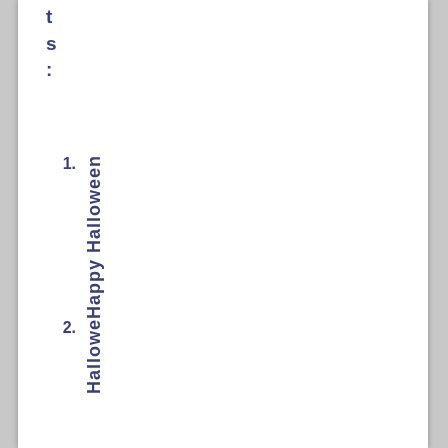ts:
1. Happy Halloween
2. Hallowe